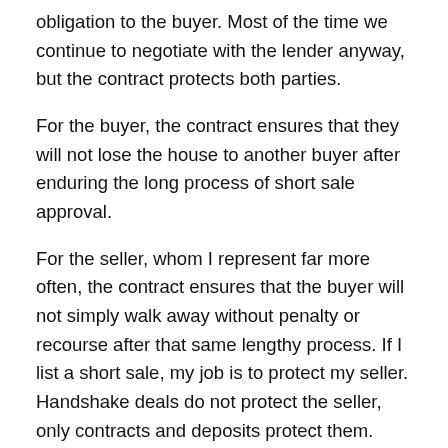obligation to the buyer. Most of the time we continue to negotiate with the lender anyway, but the contract protects both parties.
For the buyer, the contract ensures that they will not lose the house to another buyer after enduring the long process of short sale approval.
For the seller, whom I represent far more often, the contract ensures that the buyer will not simply walk away without penalty or recourse after that same lengthy process. If I list a short sale, my job is to protect my seller. Handshake deals do not protect the seller, only contracts and deposits protect them. This does not “imprison” the buyer. It is virtually the same sort of contingency as their own financing, which is in almost every real estate contract, and no seller objects to such contingencies.